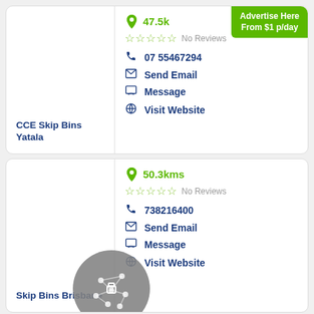CCE Skip Bins Yatala
47.5kms
No Reviews
07 55467294
Send Email
Message
Visit Website
Advertise Here From $1 p/day
Skip Bins Brisbane
50.3kms
No Reviews
738216400
Send Email
Message
Visit Website